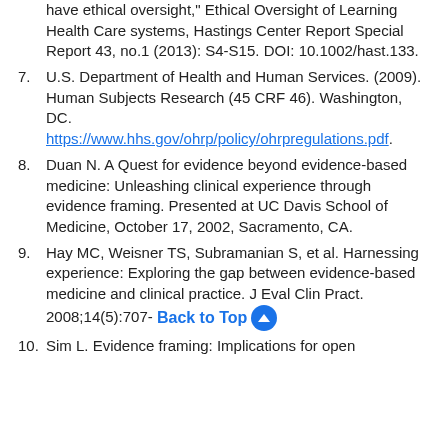(continuation) have ethical oversight," Ethical Oversight of Learning Health Care systems, Hastings Center Report Special Report 43, no.1 (2013): S4-S15. DOI: 10.1002/hast.133.
7. U.S. Department of Health and Human Services. (2009). Human Subjects Research (45 CRF 46). Washington, DC. https://www.hhs.gov/ohrp/policy/ohrpregulations.pdf.
8. Duan N. A Quest for evidence beyond evidence-based medicine: Unleashing clinical experience through evidence framing. Presented at UC Davis School of Medicine, October 17, 2002, Sacramento, CA.
9. Hay MC, Weisner TS, Subramanian S, et al. Harnessing experience: Exploring the gap between evidence-based medicine and clinical practice. J Eval Clin Pract. 2008;14(5):707-
10. Sim L. Evidence framing: Implications for open